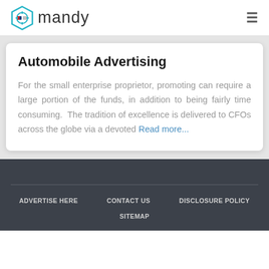mandy
Automobile Advertising
For the small enterprise proprietor, promoting can require a large portion of the funds, in addition to being fairly time consuming. The tradition of excellence is delivered to CFOs across the globe via a devoted Read more...
ADVERTISE HERE   CONTACT US   DISCLOSURE POLICY   SITEMAP